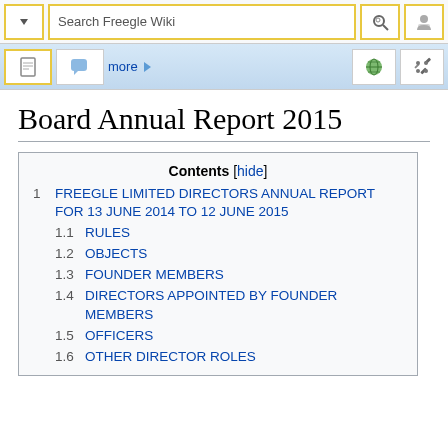Search Freegle Wiki
Board Annual Report 2015
Contents [hide]
1 FREEGLE LIMITED DIRECTORS ANNUAL REPORT FOR 13 JUNE 2014 TO 12 JUNE 2015
1.1 RULES
1.2 OBJECTS
1.3 FOUNDER MEMBERS
1.4 DIRECTORS APPOINTED BY FOUNDER MEMBERS
1.5 OFFICERS
1.6 OTHER DIRECTOR ROLES